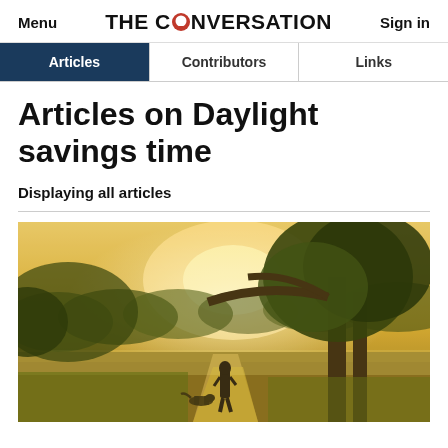Menu | THE CONVERSATION | Sign in
Articles | Contributors | Links
Articles on Daylight savings time
Displaying all articles
[Figure (photo): A person walking a dog along a misty rural path at golden hour sunrise, with large trees overhead and green fields in the background]